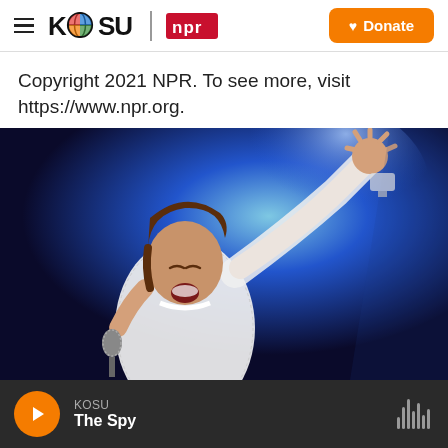KOSU | NPR — Donate
Copyright 2021 NPR. To see more, visit https://www.npr.org.
[Figure (photo): Singer performing on stage in white lace outfit with one arm raised, holding a microphone, against a blue stage light background.]
KOSU — The Spy (player bar)